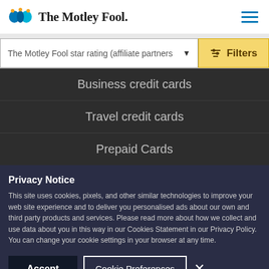The Motley Fool
The Motley Fool star rating (affiliate partners▼   Filters
Business credit cards
Travel credit cards
Prepaid Cards
Privacy Notice
This site uses cookies, pixels, and other similar technologies to improve your web site experience and to deliver you personalised ads about our own and third party products and services. Please read more about how we collect and use data about you in this way in our Cookies Statement in our Privacy Policy. You can change your cookie settings in your browser at any time.
Accept   Cookie Preferences   ×